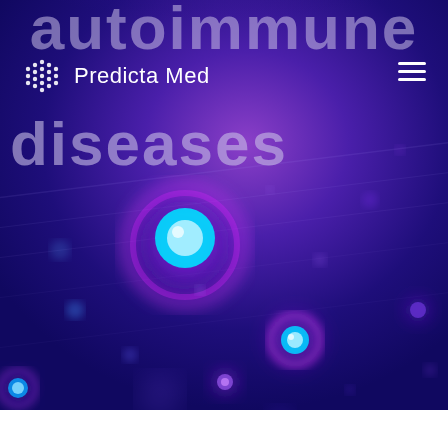[Figure (illustration): Dark blue/purple background with glowing orbs and bokeh light effects representing cells or molecules for a medical/autoimmune themed hero image]
autoimmune
diseases
Predicta Med
[Figure (logo): Predicta Med logo with waveform/grid icon and text 'Predicta Med' in white]